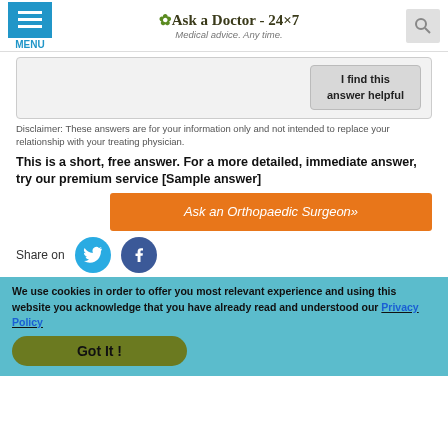Ask a Doctor - 24x7 | Medical advice. Any time.
[Figure (screenshot): Answer card with 'I find this answer helpful' button]
Disclaimer: These answers are for your information only and not intended to replace your relationship with your treating physician.
This is a short, free answer. For a more detailed, immediate answer, try our premium service [Sample answer]
[Figure (other): Orange CTA button: Ask an Orthopaedic Surgeon»]
Share on
[Figure (infographic): Cookie consent banner with Privacy Policy link and Got It button]